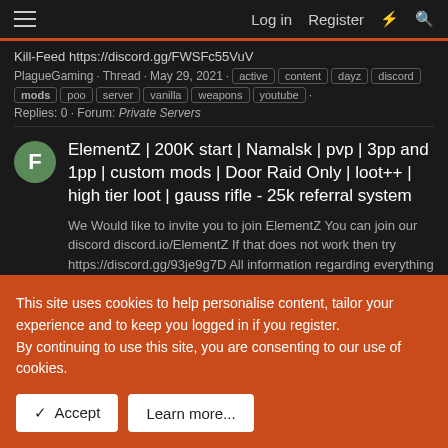Log in  Register
Kill-Feed https://discord.gg/FWSFc55VuV
PlagueGaming · Thread · May 29, 2021 · active content dayz discord mods poo server vanilla weapons youtube ·
Replies: 0 · Forum: Private Servers
ElementZ | 200K start | Namalsk | pvp | 3pp and 1pp | custom mods | Door Raid Only | loot++ | high tier loot | gauss rifle - 25k referral system
We Would like to invite you to join ElementZ You can join our discord discord.io/ElementZ If that does not work then try https://discord.gg/93je9g7D All information regarding everything on the server is in the discord Server Ip: 173.234.28.139:2302 Mods on the server BBP, Codelock, inventory...
FizzyPop3K · Thread · Apr 22, 2021 · dayz mods pvp
This site uses cookies to help personalise content, tailor your experience and to keep you logged in if you register.
By continuing to use this site, you are consenting to our use of cookies.